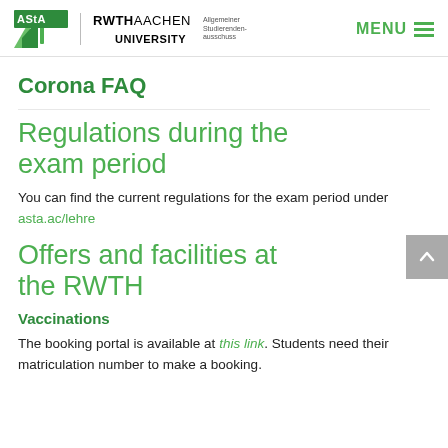AStA RWTH Aachen University | MENU
Corona FAQ
Regulations during the exam period
You can find the current regulations for the exam period under asta.ac/lehre
Offers and facilities at the RWTH
Vaccinations
The booking portal is available at this link. Students need their matriculation number to make a booking.